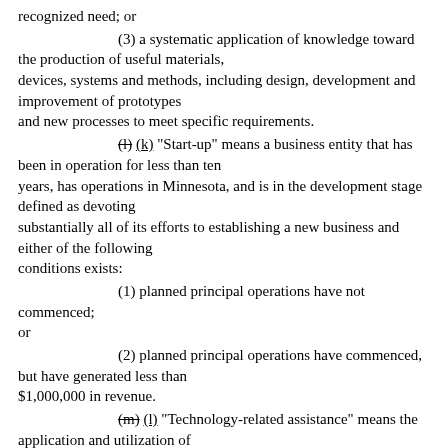recognized need; or
(3) a systematic application of knowledge toward the production of useful materials, devices, systems and methods, including design, development and improvement of prototypes and new processes to meet specific requirements.
(l) [formerly (l)] "Start-up" means a business entity that has been in operation for less than ten years, has operations in Minnesota, and is in the development stage defined as devoting substantially all of its efforts to establishing a new business and either of the following conditions exists:
(1) planned principal operations have not commenced; or
(2) planned principal operations have commenced, but have generated less than $1,000,000 in revenue.
(l) [formerly (m)] "Technology-related assistance" means the application and utilization of technological-information and technologies to assist in the development and production of new technology-related products or services or to increase the